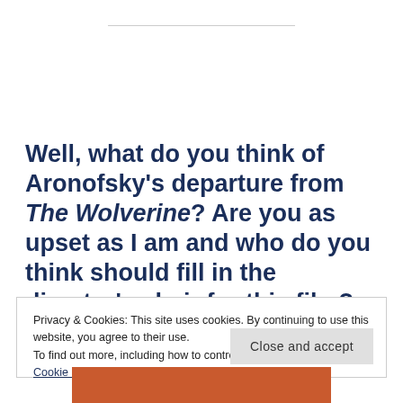Well, what do you think of Aronofsky's departure from The Wolverine? Are you as upset as I am and who do you think should fill in the director's chair for this film?
Privacy & Cookies: This site uses cookies. By continuing to use this website, you agree to their use. To find out more, including how to control cookies, see here: Cookie Policy
[Figure (other): Orange/brown colored bar or image at the bottom of the page]